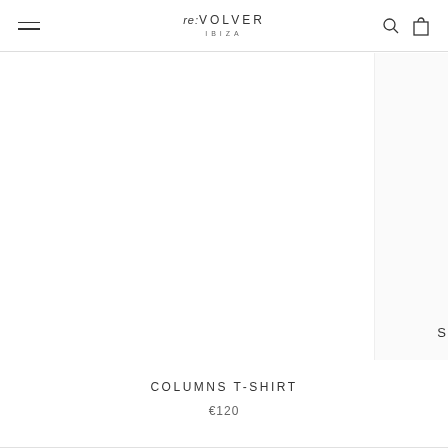re:VOLVER IBIZA
[Figure (photo): White product image area for COLUMNS T-SHIRT, mostly blank/white]
COLUMNS T-SHIRT
€120